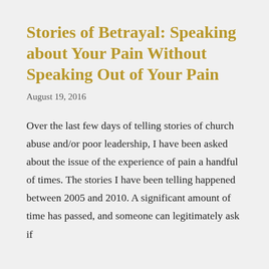Stories of Betrayal: Speaking about Your Pain Without Speaking Out of Your Pain
August 19, 2016
Over the last few days of telling stories of church abuse and/or poor leadership, I have been asked about the issue of the experience of pain a handful of times. The stories I have been telling happened between 2005 and 2010. A significant amount of time has passed, and someone can legitimately ask if